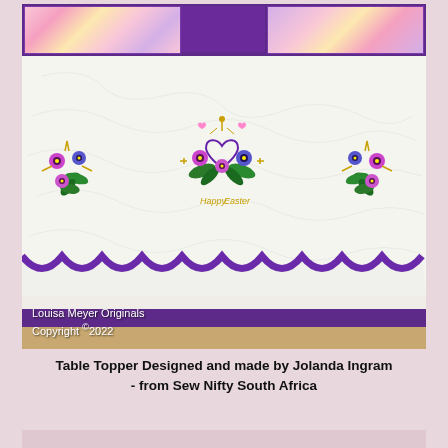[Figure (photo): A quilted table topper with purple borders, floral fabric panels at top, and cross-stitch embroidery showing pansy flowers and 'Happy Easter' text in the center, with a scalloped bottom edge trimmed in purple satin ribbon. Watermark reads 'Louisa Meyer Originals Copyright ©2022'.]
Table Topper Designed and made by Jolanda Ingram - from Sew Nifty South Africa